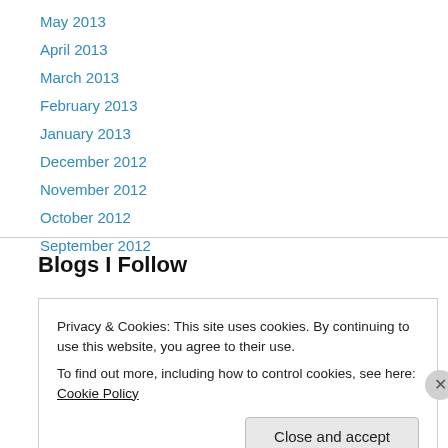May 2013
April 2013
March 2013
February 2013
January 2013
December 2012
November 2012
October 2012
September 2012
Blogs I Follow
Privacy & Cookies: This site uses cookies. By continuing to use this website, you agree to their use.
To find out more, including how to control cookies, see here: Cookie Policy
Close and accept